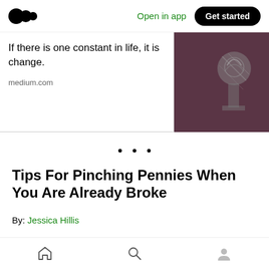Medium app navigation bar with logo, Open in app, Get started
If there is one constant in life, it is change.
medium.com
[Figure (photo): Dark brownish-purple background with metallic object, appears to be a trophy or award]
· · ·
Tips For Pinching Pennies When You Are Already Broke
By: Jessica Hillis
As a freelance writer, I know the 'joys' of penny-pinching all too well. Sadly, the struggle of
Home, Search, Profile icons